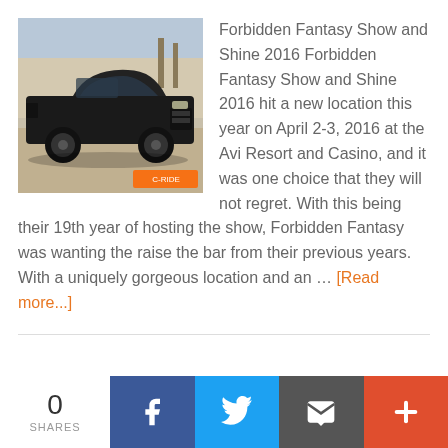[Figure (photo): Black lowered custom pickup truck parked in a lot, side/front view, with a watermark logo in the bottom right corner]
Forbidden Fantasy Show and Shine 2016 Forbidden Fantasy Show and Shine 2016 hit a new location this year on April 2-3, 2016 at the Avi Resort and Casino, and it was one choice that they will not regret. With this being their 19th year of hosting the show, Forbidden Fantasy was wanting the raise the bar from their previous years. With a uniquely gorgeous location and an ... [Read more...]
0 SHARES
[Figure (infographic): Social share bar with Facebook, Twitter, Email, and More (+) buttons]